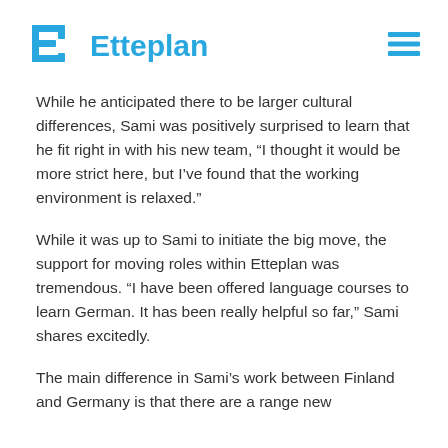Etteplan
While he anticipated there to be larger cultural differences, Sami was positively surprised to learn that he fit right in with his new team, “I thought it would be more strict here, but I’ve found that the working environment is relaxed.”
While it was up to Sami to initiate the big move, the support for moving roles within Etteplan was tremendous. “I have been offered language courses to learn German. It has been really helpful so far,” Sami shares excitedly.
The main difference in Sami’s work between Finland and Germany is that there are a range new